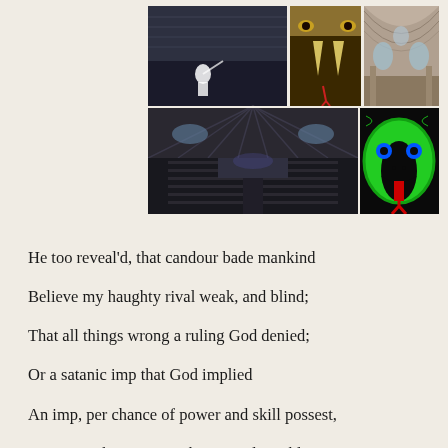[Figure (photo): Collage of images: top-left shows a large crowd with a figure in white (pope), top-center shows a close-up of a snake's open mouth with fangs, top-right shows an ornate hall interior with arched ceiling, bottom-left shows a large auditorium interior filled with people, bottom-right shows a cartoon green cobra snake with blue eyes and red tongue on black background.]
He too reveal'd, that candour bade mankind
Believe my haughty rival weak, and blind;
That all things wrong a ruling God denied;
Or a satanic imp that God implied
An imp, per chance of power and skill possest,
But not with justice, truth, or goodness blest.
Doctrines divine! would men their force receive,
And live to Satan's glory, as believe.
Nor these alone: from every class of man,
I gain'd new aids to build the darling plan.